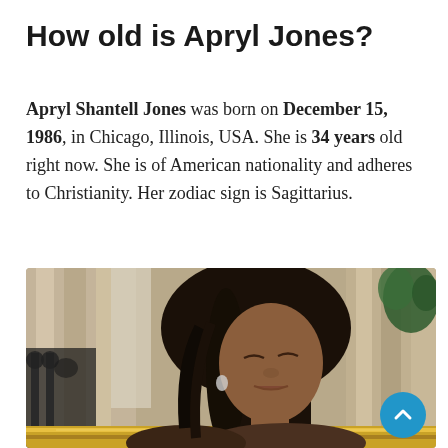How old is Apryl Jones?
Apryl Shantell Jones was born on December 15, 1986, in Chicago, Illinois, USA. She is 34 years old right now. She is of American nationality and adheres to Christianity. Her zodiac sign is Sagittarius.
[Figure (photo): Photo of Apryl Jones, a young woman with long black hair, eyes closed, seated in an ornate room with curtains, decorative iron headboard, and a plant visible in background.]